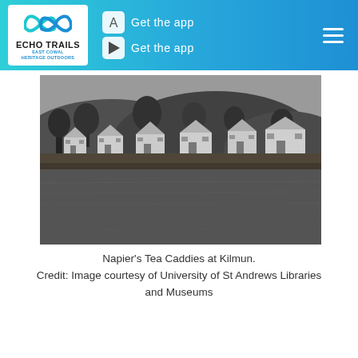Echo Trails East Cowal Heritage Outdoors — Get the app (App Store) — Get the app (Google Play)
[Figure (photo): Black and white historic photograph of Napier's Tea Caddies at Kilmun, showing a row of white houses along a waterfront with hills and trees behind, and a calm body of water in the foreground.]
Napier's Tea Caddies at Kilmun.
Credit: Image courtesy of University of St Andrews Libraries and Museums